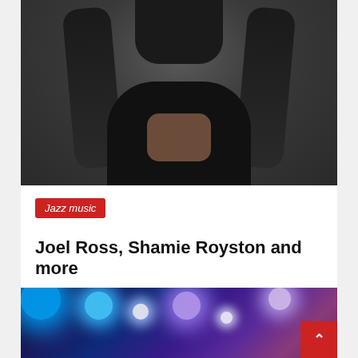[Figure (photo): Portrait of a Black male musician with long dreadlocks, wearing a black jacket, sitting with hands clasped, against a dark grey background.]
Jazz music
Joel Ross, Shamie Royston and more
Henry R. Wright   August 2, 2022
[Figure (photo): Concert stage photo with colorful blue, purple, and white stage lights illuminating the scene.]